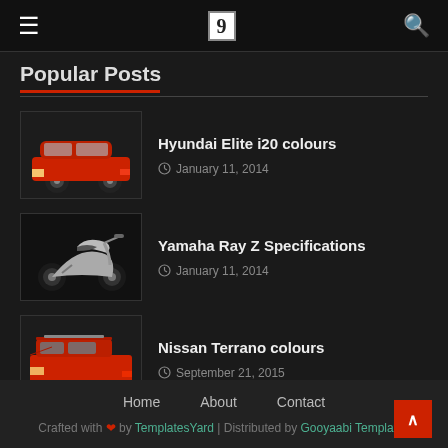☰  [logo]  🔍
Popular Posts
Hyundai Elite i20 colours — January 11, 2014
Yamaha Ray Z Specifications — January 11, 2014
Nissan Terrano colours — September 21, 2015
Home  About  Contact
Crafted with ❤ by TemplatesYard | Distributed by Gooyaabi Templates